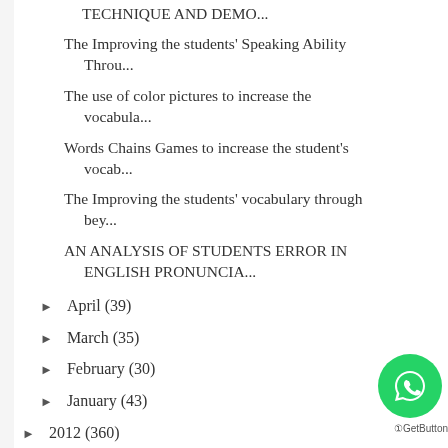TECHNIQUE AND DEMO...
The Improving the students' Speaking Ability Throu...
The use of color pictures to increase the vocabula...
Words Chains Games to increase the student's vocab...
The Improving the students' vocabulary through bey...
AN ANALYSIS OF STUDENTS ERROR IN ENGLISH PRONUNCIA...
► April (39)
► March (35)
► February (30)
► January (43)
► 2012 (360)
► 2011 (6)